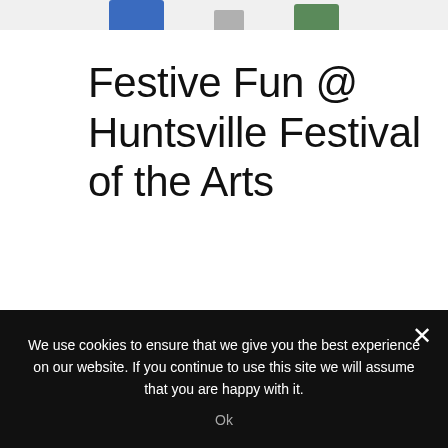[Figure (photo): Partial top edge of a photo showing figures, one in blue clothing, partially cropped at top of page]
Festive Fun @ Huntsville Festival of the Arts
Lifestyles Editor Dee Dee Weiland takes a sneak peek at the festive fun on offer at the Huntsville
We use cookies to ensure that we give you the best experience on our website. If you continue to use this site we will assume that you are happy with it.
Ok